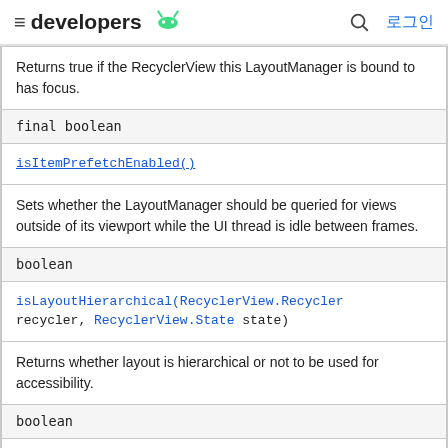developers [android logo] | [search] 로그인
Returns true if the RecyclerView this LayoutManager is bound to has focus.
final boolean
isItemPrefetchEnabled()
Sets whether the LayoutManager should be queried for views outside of its viewport while the UI thread is idle between frames.
boolean
isLayoutHierarchical(RecyclerView.Recycler recycler, RecyclerView.State state)
Returns whether layout is hierarchical or not to be used for accessibility.
boolean
isMeasurementCacheEnabled()